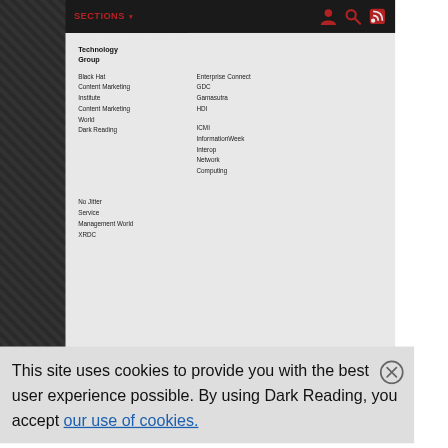SECTIONS
Technology Group
Black Hat
Content Marketing Institute
Content Marketing World
Dark Reading
Enterprise Connect
GDC
Gamasutra
HDI
ICMI
InformationWeek
Interop
Network Computing
No Jitter
Service Management World
XRDC
This site uses cookies to provide you with the best user experience possible. By using Dark Reading, you accept our use of cookies.